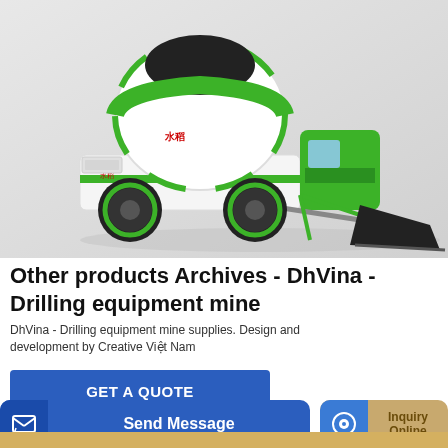[Figure (photo): A green and white self-loading concrete mixer truck with a front-mounted mixing drum, black top, and a large front loader/bucket attachment. The vehicle has green wheels and white body panels with green accents.]
Other products Archives - DhVina - Drilling equipment mine
DhVina - Drilling equipment mine supplies. Design and development by Creative Việt Nam
GET A QUOTE
Send Message
Inquiry Online